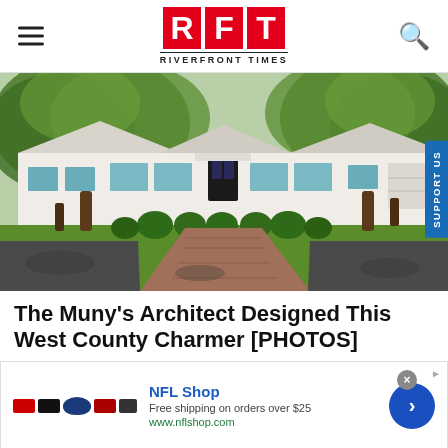RFT RIVERFRONT TIMES
[Figure (photo): Exterior photo of a white ranch-style house with mature trees, trimmed hedges, and a brick driveway leading to the front door, surrounded by green lawn.]
The Muny's Architect Designed This West County Charmer [PHOTOS]
[Figure (other): NFL Shop advertisement banner showing team logos, NFL Shop brand name, Free shipping on orders over $25, www.nflshop.com, with a blue circular arrow button and close/info icons.]